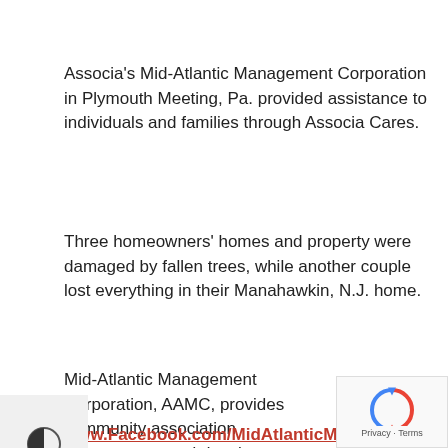Associa's Mid-Atlantic Management Corporation in Plymouth Meeting, Pa. provided assistance to individuals and families through Associa Cares.
Three homeowners' homes and property were damaged by fallen trees, while another couple lost everything in their Manahawkin, N.J. home.
Mid-Atlantic Management Corporation, AAMC, provides community association management and developer services to Southeastern Pennsylvania, central New Jersey, and Delaware areas. Since 1980, its sole focus has been to deliver performance that enriches communities and enhances the lives of the people it serves. To learn more visit www.mamc.com or find on Facebook by visiting
www.Facebook.com/MidAtlanticManagement